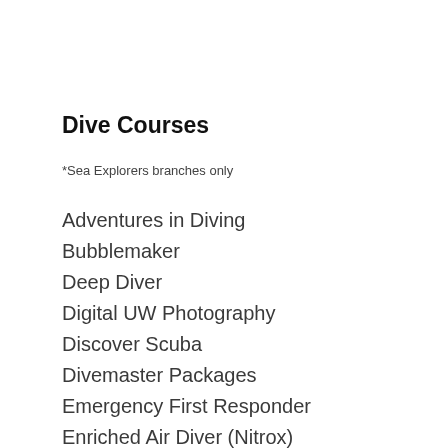Dive Courses
*Sea Explorers branches only
Adventures in Diving
Bubblemaker
Deep Diver
Digital UW Photography
Discover Scuba
Divemaster Packages
Emergency First Responder
Enriched Air Diver (Nitrox)
Get Back to the Water
IDC Packages
Night Diver